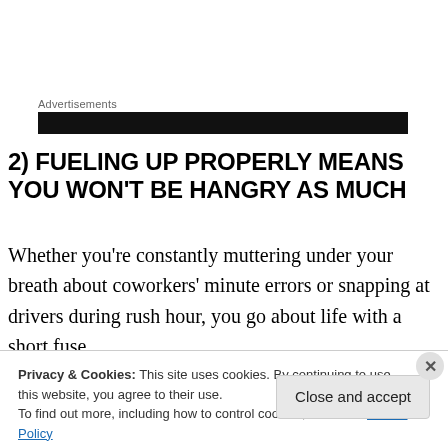Advertisements
[Figure (other): Black advertisement banner bar]
2) FUELING UP PROPERLY MEANS YOU WON'T BE HANGRY AS MUCH
Whether you’re constantly muttering under your breath about coworkers’ minute errors or snapping at drivers during rush hour, you go about life with a short fuse.
Rather than looking to peer anger management or mood
Privacy & Cookies: This site uses cookies. By continuing to use this website, you agree to their use.
To find out more, including how to control cookies, see here: Cookie Policy
Close and accept